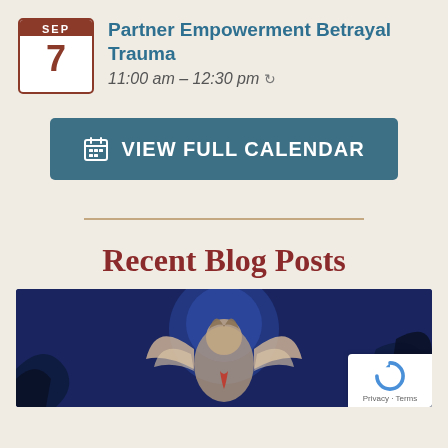SEP 7 — Partner Empowerment Betrayal Trauma — 11:00 am – 12:30 pm
VIEW FULL CALENDAR
Recent Blog Posts
[Figure (illustration): Fantasy character illustration on dark blue background showing a winged or armored figure]